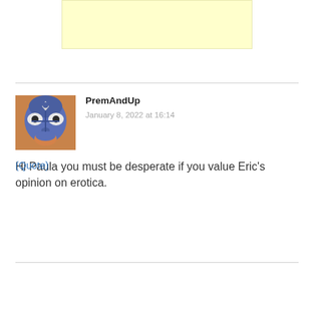[Figure (other): Yellow advertisement banner placeholder]
PremAndUp
January 8, 2022 at 16:14
[Figure (photo): User avatar: person with blue face paint/mask]
Hi Paula you must be desperate if you value Eric's opinion on erotica.
(Quote)